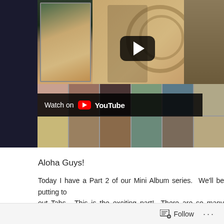[Figure (screenshot): YouTube video thumbnail showing a scrapbook/mini album collage with vintage-style illustrated women, steampunk imagery, gear motifs, and a grid of patterned scrapbook papers. A YouTube play button overlay is centered. A 'Watch on YouTube' bar appears at the bottom-left of the video.]
Aloha Guys!
Today I have a Part 2 of our Mini Album series.  We'll be putting together out Tabs.  This is the exciting part!  There are so many possibilities component to your Album, the possibilities are endless.  We'll ma pockets as well as some additional pockets.  I hope you are having
Follow ···